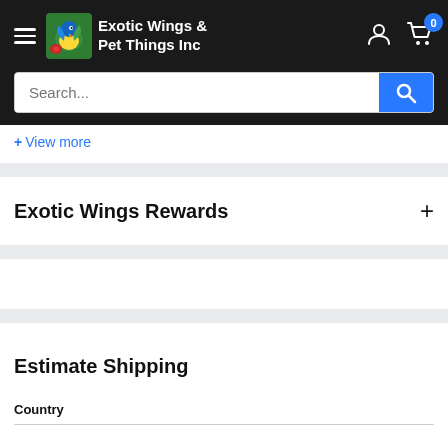Exotic Wings & Pet Things Inc
+ View more
Exotic Wings Rewards
Estimate Shipping
Country